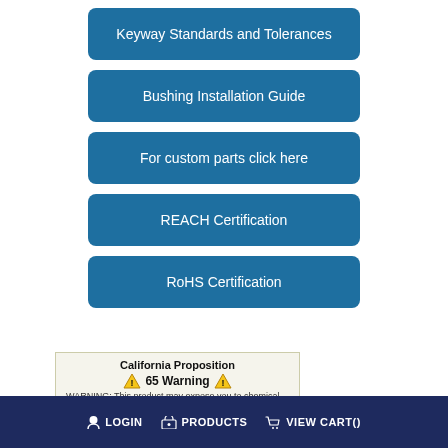Keyway Standards and Tolerances
Bushing Installation Guide
For custom parts click here
REACH Certification
RoHS Certification
[Figure (infographic): California Proposition 65 Warning box with yellow warning triangles]
LOGIN   PRODUCTS   VIEW CART()